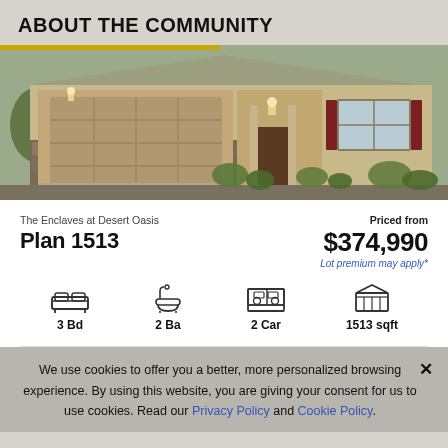ABOUT THE COMMUNITY
[Figure (photo): Exterior rendering of a single-story home with tan stucco, stone veneer, two-car garage, and desert landscaping.]
The Enclaves at Desert Oasis
Plan 1513
Priced from
$374,990
Lot premium may apply*
3 Bd
2 Ba
2 Car
1513 sqft
We use cookies to offer you a better, more personalized browsing experience. By using this website, you are giving your consent for us to use cookies. Read our Privacy Policy and Cookie Policy.